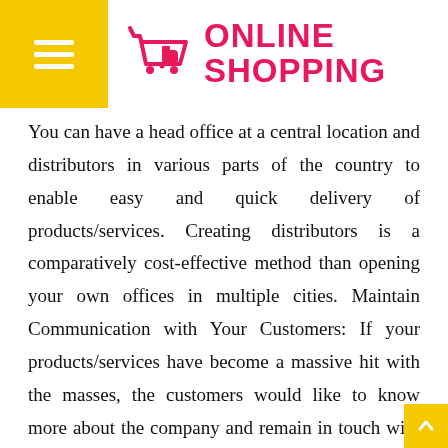ONLINE SHOPPING
You can have a head office at a central location and distributors in various parts of the country to enable easy and quick delivery of products/services. Creating distributors is a comparatively cost-effective method than opening your own offices in multiple cities. Maintain Communication with Your Customers: If your products/services have become a massive hit with the masses, the customers would like to know more about the company and remain in touch with the company by communicating with it. You need to have a face for the company which can communicate with the customer's loudtronix, assure them of your reliability, answer their doubts and complaints, etc. If you are facing problems with lead time or delays in delivery time, be truthful to your